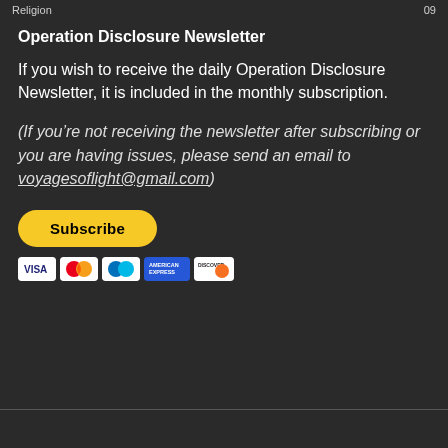Religion | 09
Operation Disclosure Newsletter
If you wish to receive the daily Operation Disclosure Newsletter, it is included in the monthly subscription.
(If you’re not receiving the newsletter after subscribing or you are having issues, please send an email to voyagesoflight@gmail.com)
[Figure (other): PayPal Subscribe button with payment card icons (Visa, Mastercard, Mastercard variant, American Express, Discover)]